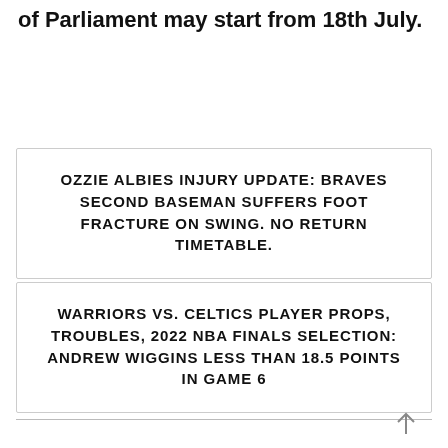of Parliament may start from 18th July.
OZZIE ALBIES INJURY UPDATE: BRAVES SECOND BASEMAN SUFFERS FOOT FRACTURE ON SWING. NO RETURN TIMETABLE.
WARRIORS VS. CELTICS PLAYER PROPS, TROUBLES, 2022 NBA FINALS SELECTION: ANDREW WIGGINS LESS THAN 18.5 POINTS IN GAME 6
↑